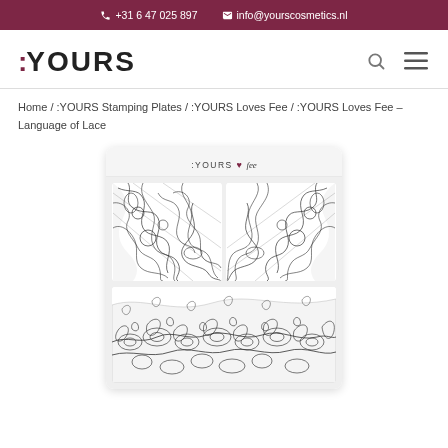+31 6 47 025 897   info@yourscosmetics.nl
[Figure (logo): :YOURS cosmetics logo with search and menu icons]
Home / :YOURS Stamping Plates / :YOURS Loves Fee / :YOURS Loves Fee – Language of Lace
[Figure (photo): A :YOURS Loves Fee stamping plate named 'Language of Lace' showing intricate lace-pattern nail stamp designs — two rectangular nail art patterns on top and one wide wave-shaped lace pattern on the bottom. The plate header reads ':YOURS ♥ Fee'.]